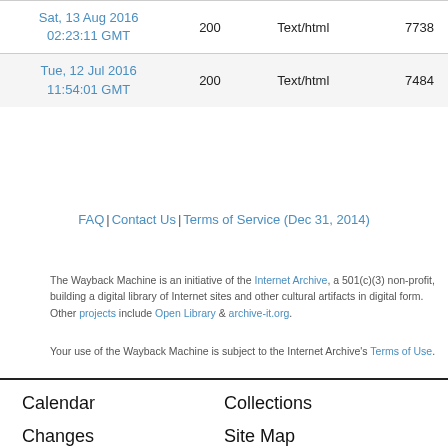| Date | Status | Type | Size |
| --- | --- | --- | --- |
| Sat, 13 Aug 2016 02:23:11 GMT | 200 | Text/html | 7738 |
| Tue, 12 Jul 2016 11:54:01 GMT | 200 | Text/html | 7484 |
FAQ | Contact Us | Terms of Service (Dec 31, 2014)
The Wayback Machine is an initiative of the Internet Archive, a 501(c)(3) non-profit, building a digital library of Internet sites and other cultural artifacts in digital form. Other projects include Open Library & archive-it.org.
Your use of the Wayback Machine is subject to the Internet Archive's Terms of Use.
Calendar
Changes
URLs
Collections
Site Map